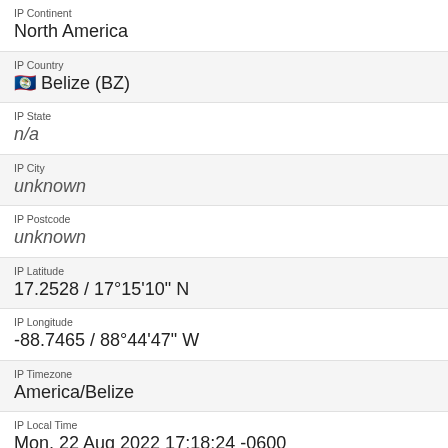IP Continent
North America
IP Country
🇧🇿 Belize (BZ)
IP State
n/a
IP City
unknown
IP Postcode
unknown
IP Latitude
17.2528 / 17°15'10" N
IP Longitude
-88.7465 / 88°44'47" W
IP Timezone
America/Belize
IP Local Time
Mon, 22 Aug 2022 17:18:24 -0600